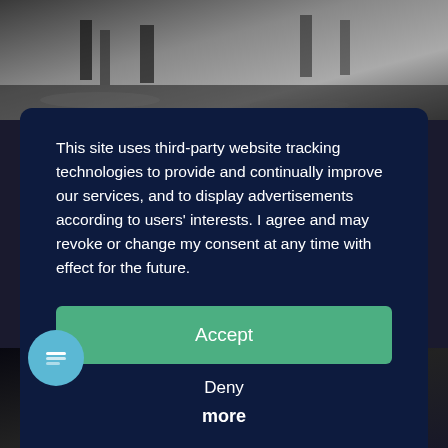[Figure (photo): Top strip: black and white rainy street scene with people walking, wet pavement reflections]
This site uses third-party website tracking technologies to provide and continually improve our services, and to display advertisements according to users' interests. I agree and may revoke or change my consent at any time with effect for the future.
Accept
Deny
more
Powered by  •• usercentrics  &  ∫eRecht24
[Figure (photo): Bottom strip: night cycling scene with cyclist wearing helmet and headlamp, dark background with buildings]